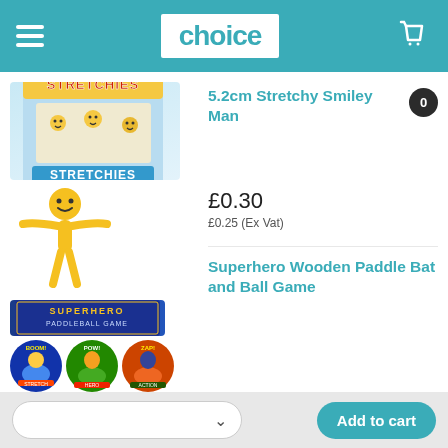choice
[Figure (photo): Stretchies smiley man product box and individual yellow stretchy smiley man figure]
5.2cm Stretchy Smiley Man
£0.30
£0.25 (Ex Vat)
[Figure (photo): Superhero Wooden Paddle Bat and Ball Game product packaging showing superhero themed paddle ball sets]
Superhero Wooden Paddle Bat and Ball Game